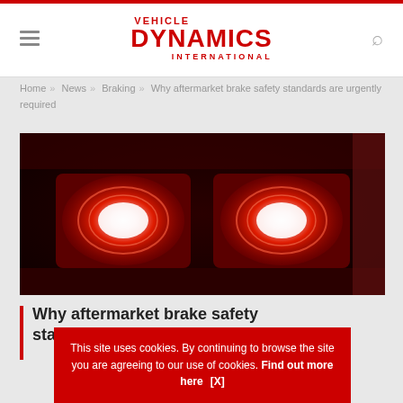Vehicle Dynamics International
Home » News » Braking » Why aftermarket brake safety standards are urgently required
[Figure (photo): Close-up photograph of red LED brake lights glowing brightly on a dark vehicle]
Why aftermarket brake safety standards are urgently required
This site uses cookies. By continuing to browse the site you are agreeing to our use of cookies. Find out more here [X]